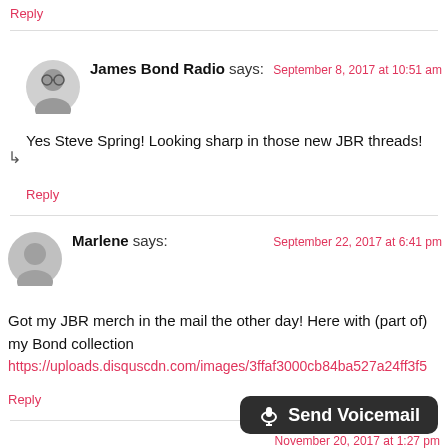Reply
James Bond Radio says:
September 8, 2017 at 10:51 am
Yes Steve Spring! Looking sharp in those new JBR threads!
Reply
Marlene says:
September 22, 2017 at 6:41 pm
Got my JBR merch in the mail the other day! Here with (part of) my Bond collection
https://uploads.disquscdn.com/images/3ffaf3000cb84ba527a24ff3f5...
Reply
Send Voicemail
November 20, 2017 at 1:27 pm